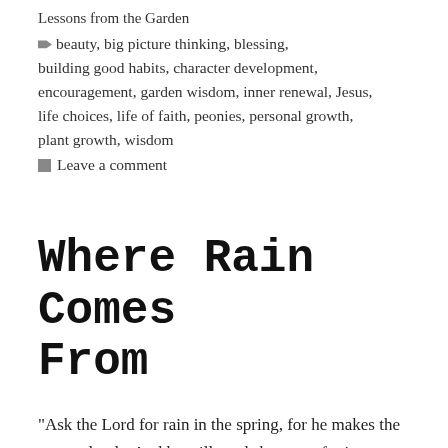Lessons from the Garden
beauty, big picture thinking, blessing, building good habits, character development, encouragement, garden wisdom, inner renewal, Jesus, life choices, life of faith, peonies, personal growth, plant growth, wisdom
Leave a comment
Where Rain Comes From
“Ask the Lord for rain in the spring, for he makes the storm clouds. And he will send showers of rain so every field becomes a lush